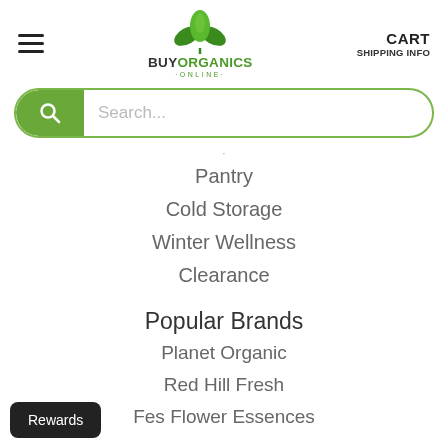[Figure (logo): BuyOrganics Online logo with green leaf icon, hamburger menu icon on left, CART and SHIPPING INFO text on right]
[Figure (screenshot): Search bar with green magnifying glass icon and placeholder text 'Search...']
Pantry
Cold Storage
Winter Wellness
Clearance
Popular Brands
Planet Organic
Red Hill Fresh
Fes Flower Essences
Rewards